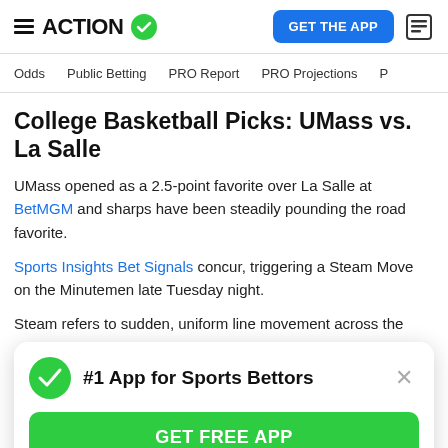ACTION [logo with checkmark] | GET THE APP [button] | [news icon]
Odds  Public Betting  PRO Report  PRO Projections  P
College Basketball Picks: UMass vs. La Salle
UMass opened as a 2.5-point favorite over La Salle at BetMGM and sharps have been steadily pounding the road favorite.
Sports Insights Bet Signals concur, triggering a Steam Move on the Minutemen late Tuesday night.
Steam refers to sudden, uniform line movement across the
[Figure (screenshot): #1 App for Sports Bettors popup with green checkmark icon, GET FREE APP green button, and X close button]
gobble up UMass at -2.5, oddsmakers had no choice but